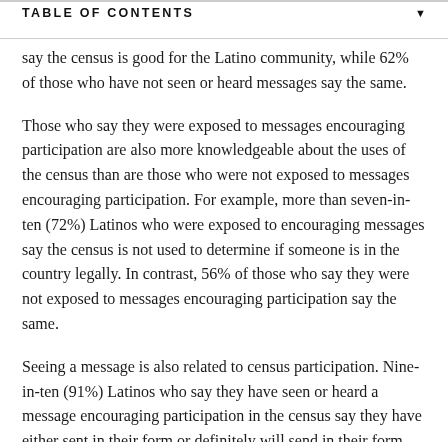TABLE OF CONTENTS
say the census is good for the Latino community, while 62% of those who have not seen or heard messages say the same.
Those who say they were exposed to messages encouraging participation are also more knowledgeable about the uses of the census than are those who were not exposed to messages encouraging participation. For example, more than seven-in-ten (72%) Latinos who were exposed to encouraging messages say the census is not used to determine if someone is in the country legally. In contrast, 56% of those who say they were not exposed to messages encouraging participation say the same.
Seeing a message is also related to census participation. Nine-in-ten (91%) Latinos who say they have seen or heard a message encouraging participation in the census say they have either sent in their form or definitely will send in their form. Among those